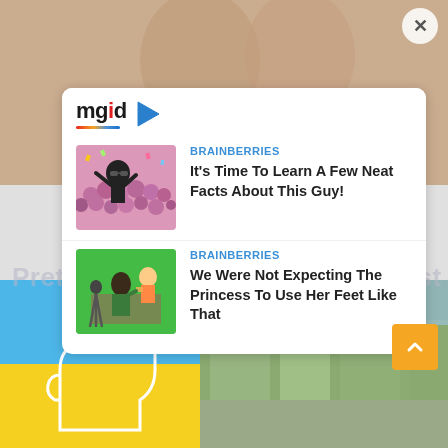[Figure (screenshot): MGID content recommendation widget overlaid on a webpage. Shows a white panel with mgid logo and two article cards from BRAINBERRIES. Background shows a couple photo at top and Ukraine-themed imagery with a fist graphic at bottom. Close button (X) visible top right.]
mgid
BRAINBERRIES
It’s Time To Learn A Few Neat Facts About This Guy!
Pretty Awesome Shows That Just Got
BRAINBERRIES
We Were Not Expecting The Princess To Use Her Feet Like That